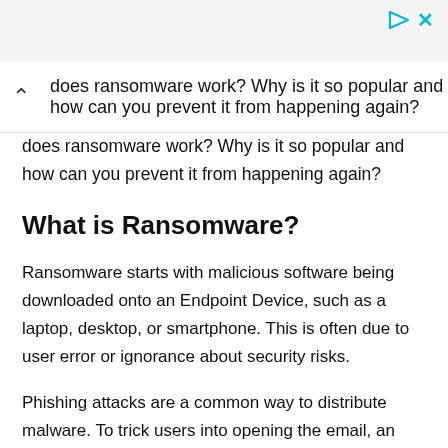does ransomware work? Why is it so popular and how can you prevent it from happening again?
What is Ransomware?
Ransomware starts with malicious software being downloaded onto an Endpoint Device, such as a laptop, desktop, or smartphone. This is often due to user error or ignorance about security risks.
Phishing attacks are a common way to distribute malware. To trick users into opening the email, an attacker may attach a URL or infected document to their email. This will allow them to install malware on